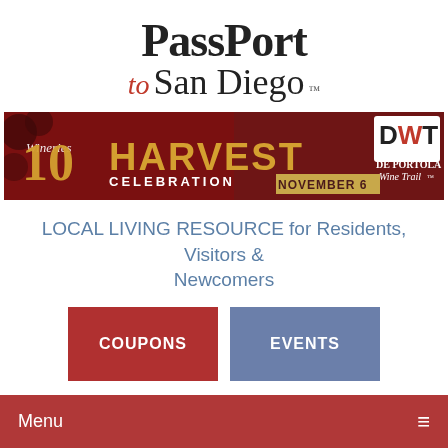[Figure (logo): PassPort to San Diego logo with serif text]
[Figure (infographic): 10 Wineries Harvest Celebration November 6 - De Portola Wine Trail banner ad with red background]
LOCAL LIVING RESOURCE for Residents, Visitors & Newcomers
COUPONS
EVENTS
Menu
Masia de la Vinya Winery